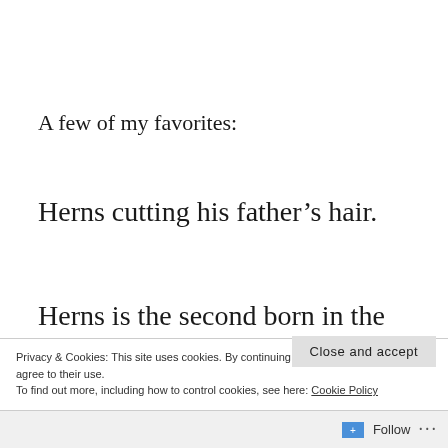A few of my favorites:
Herns cutting his father’s hair.
Herns is the second born in the family of eight children. He is 32, and he and his
Privacy & Cookies: This site uses cookies. By continuing to use this website, you agree to their use.
To find out more, including how to control cookies, see here: Cookie Policy
Close and accept
Follow